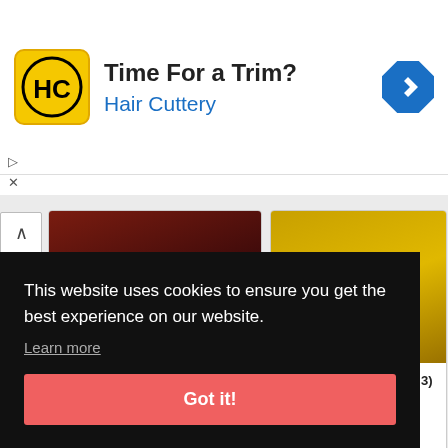[Figure (logo): Hair Cuttery advertisement banner with HC logo, text 'Time For a Trim?' and 'Hair Cuttery', and a blue navigation arrow icon]
[Figure (screenshot): Game card for '19XX - the war against d...' showing Arcade badge with heart count 2, dark red/brown background]
19XX - the war against d...
[Figure (screenshot): Game card for 'Battle Lane! Vol. 5 (set 3)' showing Arcade badge with heart count 1, yellow/gold background]
Battle Lane! Vol. 5 (set 3)
This website uses cookies to ensure you get the best experience on our website.
Learn more
Got it!